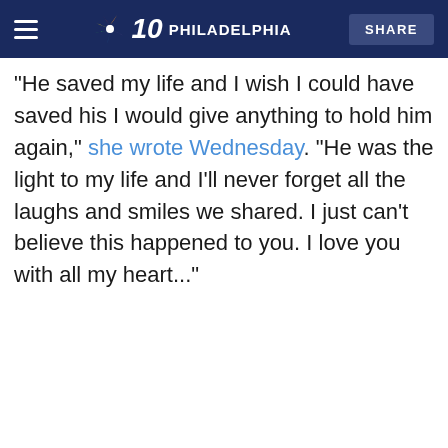NBC 10 PHILADELPHIA | SHARE
"He saved my life and I wish I could have saved his I would give anything to hold him again," she wrote Wednesday. "He was the light to my life and I'll never forget all the laughs and smiles we shared. I just can't believe this happened to you. I love you with all my heart..."